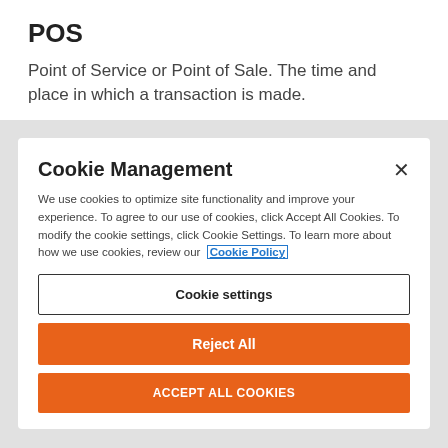POS
Point of Service or Point of Sale. The time and place in which a transaction is made.
Cookie Management
We use cookies to optimize site functionality and improve your experience. To agree to our use of cookies, click Accept All Cookies. To modify the cookie settings, click Cookie Settings. To learn more about how we use cookies, review our Cookie Policy
Cookie settings
Reject All
ACCEPT ALL COOKIES